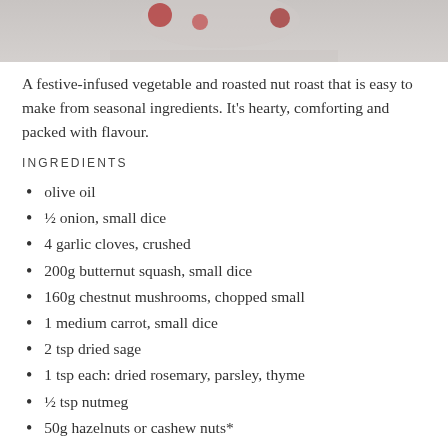[Figure (photo): Partial photo of a festive nut roast dish, cropped at top of page]
A festive-infused vegetable and roasted nut roast that is easy to make from seasonal ingredients. It's hearty, comforting and packed with flavour.
INGREDIENTS
olive oil
½ onion, small dice
4 garlic cloves, crushed
200g butternut squash, small dice
160g chestnut mushrooms, chopped small
1 medium carrot, small dice
2 tsp dried sage
1 tsp each: dried rosemary, parsley, thyme
½ tsp nutmeg
50g hazelnuts or cashew nuts*
80g pre-cooked chestnuts